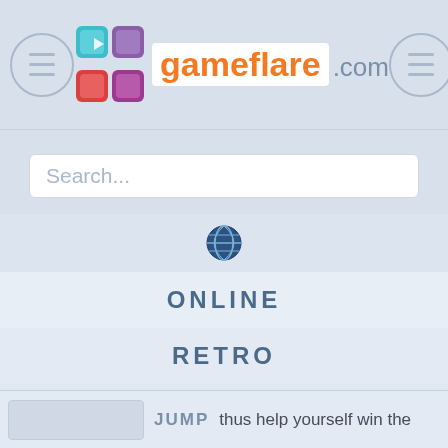[Figure (screenshot): Gameflare.com website navigation menu screenshot showing header with logo, hamburger menu buttons, search bar, globe icon, ONLINE/RETRO/INDIE nav items, home and user-add icons, and a footer with JUMP label and partial text 'thus help yourself win the']
gameflare.com
Search...
ONLINE
RETRO
INDIE
JUMP
thus help yourself win the